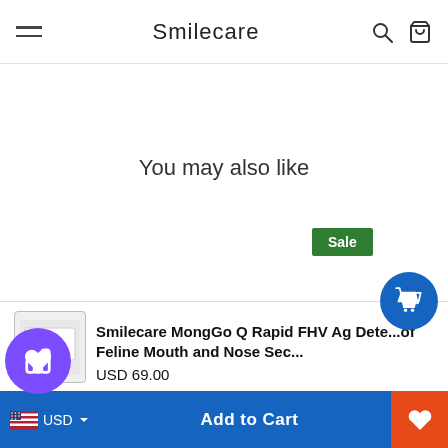Smilecare
You may also like
Sale
[Figure (screenshot): Product thumbnail image for Smilecare MongGo Q Rapid FHV Ag Detection kit]
Smilecare MongGo Q Rapid FHV Ag Detection of Feline Mouth and Nose Sec...
USD 69.00
Add to Cart